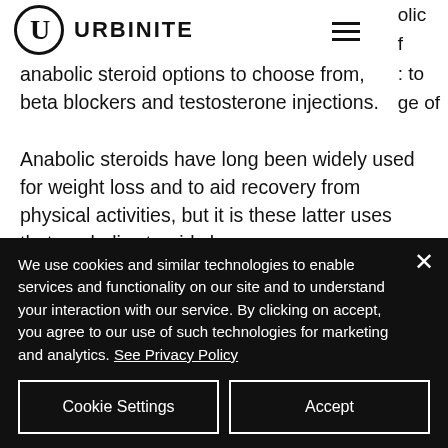URBINITE
olic f : to ge of anabolic steroid options to choose from, beta blockers and testosterone injections.
Anabolic steroids have long been widely used for weight loss and to aid recovery from physical activities, but it is these latter uses that anabolic steroids have
We use cookies and similar technologies to enable services and functionality on our site and to understand your interaction with our service. By clicking on accept, you agree to our use of such technologies for marketing and analytics. See Privacy Policy